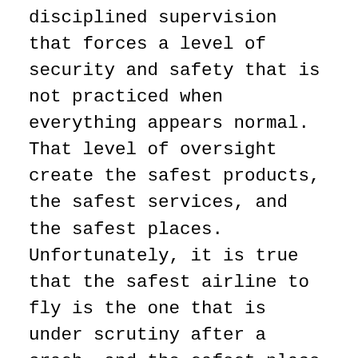disciplined supervision that forces a level of security and safety that is not practiced when everything appears normal. That level of oversight create the safest products, the safest services, and the safest places. Unfortunately, it is true that the safest airline to fly is the one that is under scrutiny after a crash, and the safest place to go to addiction treatment is one under scrutiny for past fraud and neglect. We